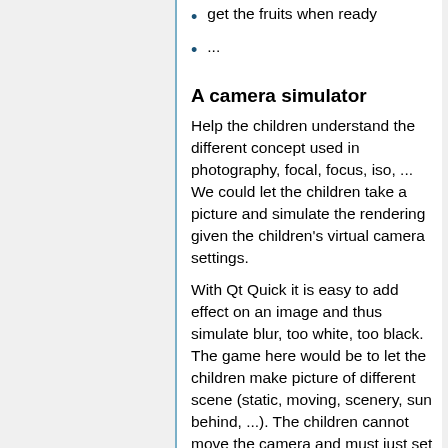get the fruits when ready
...
A camera simulator
Help the children understand the different concept used in photography, focal, focus, iso, ... We could let the children take a picture and simulate the rendering given the children's virtual camera settings.
With Qt Quick it is easy to add effect on an image and thus simulate blur, too white, too black. The game here would be to let the children make picture of different scene (static, moving, scenery, sun behind, ...). The children cannot move the camera and must just set the parameters (focus, aperture, shutter speed, film speed)